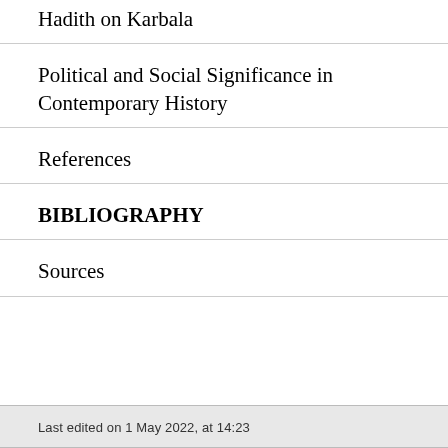Hadith on Karbala
Political and Social Significance in Contemporary History
References
BIBLIOGRAPHY
Sources
Last edited on 1 May 2022, at 14:23